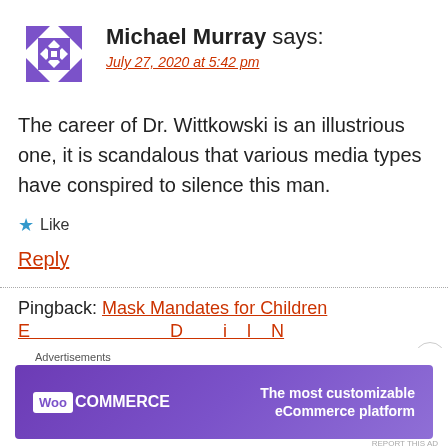[Figure (illustration): Purple geometric avatar with triangles and diamond pattern for user Michael Murray]
Michael Murray says:
July 27, 2020 at 5:42 pm
The career of Dr. Wittkowski is an illustrious one, it is scandalous that various media types have conspired to silence this man.
★ Like
Reply
Pingback: Mask Mandates for Children
Advertisements
[Figure (illustration): WooCommerce advertisement banner: purple background with WooCommerce logo and text 'The most customizable eCommerce platform']